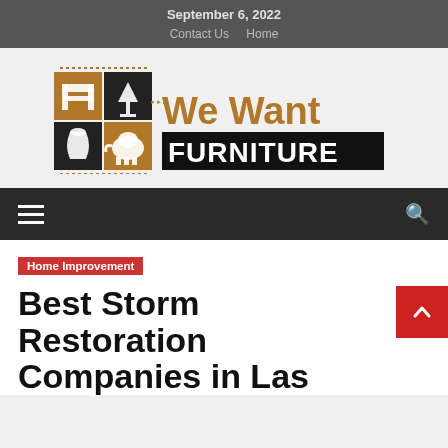September 6, 2022
Contact Us   Home
[Figure (logo): We Want Furniture logo — a 2x2 grid icon with furniture items (chair, lamp, vase, elephant/pig) in brown and black squares, with dotted border elements, alongside the text 'We Want' in brown and 'FURNITURE' in white on black background]
Navigation bar with hamburger menu and search icon
Home Improvement
Best Storm Restoration Companies in Las